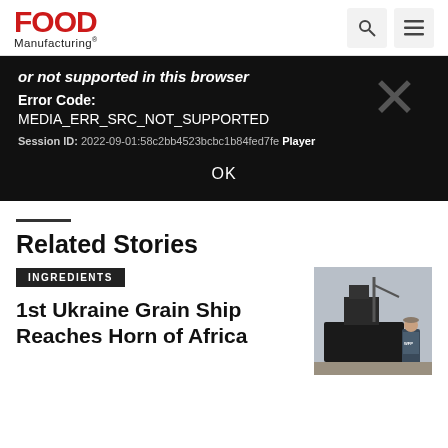Food Manufacturing
[Figure (screenshot): Video player error dialog on dark background. Text reads: 'or not supported in this browser'. Error Code: MEDIA_ERR_SRC_NOT_SUPPORTED. Session ID: 2022-09-01:58c2bb4523bcbc1b84fed7fe Player. OK button.]
Related Stories
INGREDIENTS
1st Ukraine Grain Ship Reaches Horn of Africa
[Figure (photo): A person in a vest labeled 'WFP COMMANDER' standing in front of a large dark ship at port.]